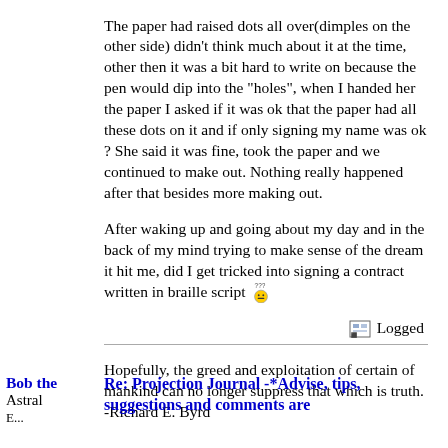The paper had raised dots all over(dimples on the other side) didn't think much about it at the time, other then it was a bit hard to write on because the pen would dip into the "holes", when I handed her the paper I asked if it was ok that the paper had all these dots on it and if only signing my name was ok ? She said it was fine, took the paper and we continued to make out. Nothing really happened after that besides more making out.
After waking up and going about my day and in the back of my mind trying to make sense of the dream it hit me, did I get tricked into signing a contract written in braille script [confused emoji]
Logged
Hopefully, the greed and exploitation of certain of mankind can no longer suppress that which is truth. -Richard E. Byrd
Bob the Astral E...
Re: Projection Journal -*Advise, tips, suggestions and comments are